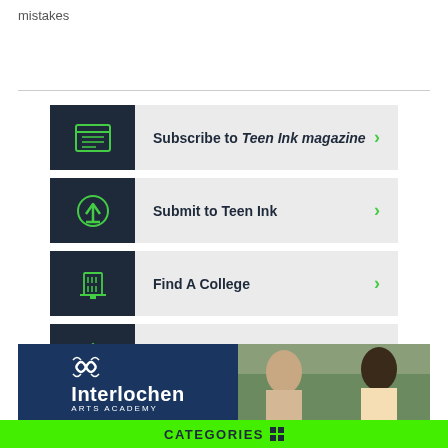mistakes
Subscribe to Teen Ink magazine
Submit to Teen Ink
Find A College
Find a Summer Program
[Figure (illustration): Interlochen Arts Academy advertisement banner with logo and photo of students]
CATEGORIES